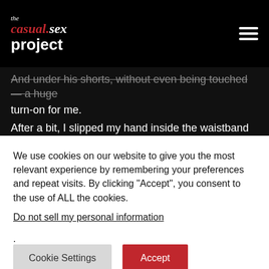the casual.sex project
And under his shorts, without even being touched — a huge turn-on for me.
After a bit, I slipped my hand inside the waistband of his shorts to touch a large, very erect penis.
I was hard by this time as well, and he rubbed me through my shorts. We undressed, lifting up to slip out of our clothes. He had a truly gorgeous cock; perfect.
We moved to his bedroom, where we continued to make out.
We kissed – I'd tried kissing a man once before and found it
We use cookies on our website to give you the most relevant experience by remembering your preferences and repeat visits. By clicking "Accept", you consent to the use of ALL the cookies.
Do not sell my personal information.